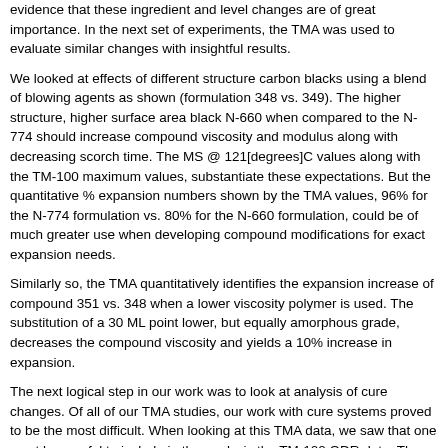evidence that these ingredient and level changes are of great importance. In the next set of experiments, the TMA was used to evaluate similar changes with insightful results.
We looked at effects of different structure carbon blacks using a blend of blowing agents as shown (formulation 348 vs. 349). The higher structure, higher surface area black N-660 when compared to the N-774 should increase compound viscosity and modulus along with decreasing scorch time. The MS @ 121[degrees]C values along with the TM-100 maximum values, substantiate these expectations. But the quantitative % expansion numbers shown by the TMA values, 96% for the N-774 formulation vs. 80% for the N-660 formulation, could be of much greater use when developing compound modifications for exact expansion needs.
Similarly so, the TMA quantitatively identifies the expansion increase of compound 351 vs. 348 when a lower viscosity polymer is used. The substitution of a 30 ML point lower, but equally amorphous grade, decreases the compound viscosity and yields a 10% increase in expansion.
The next logical step in our work was to look at analysis of cure changes. Of all of our TMA studies, our work with cure systems proved to be the most difficult. When looking at this TMA data, we saw that one must be careful to include in the analysis the TM-100 ODR data. Thus, a case can be made for understanding the % expansion values, but only after looking at minimum compound viscosity values, along with the T2, T15, T90 and maximum values for each compound. A compound's initial viscosity (how fast it builds modulus) and its maximum torque value all play a roll in the final % expansion. We did find that thermal softening is more dramatic for high levels of our high viscosity, amorphous grade in the blends, and that